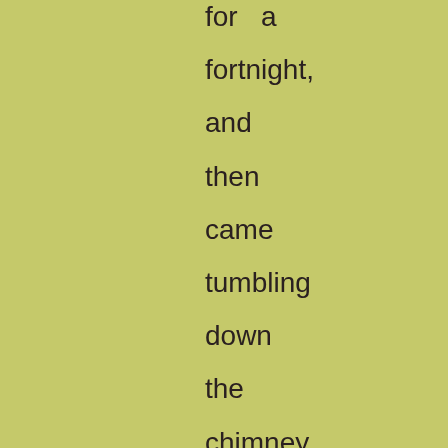for a fortnight, and then came tumbling down the chimney very thin. Did you ever see such a brute? Looks as if